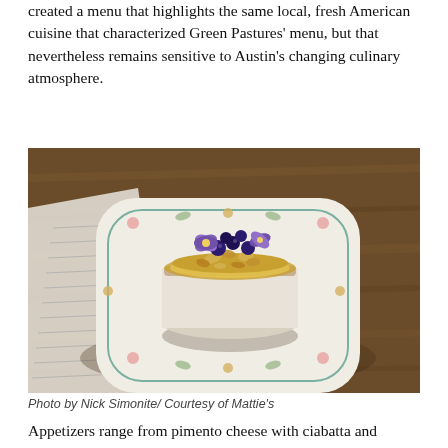created a menu that highlights the same local, fresh American cuisine that characterized Green Pastures' menu, but that nevertheless remains sensitive to Austin's changing culinary atmosphere.
[Figure (photo): Overhead photo of an ornate floral china plate with a small round ramekin on top, filled with granola, blueberries, and purple edible flowers, placed on a wooden table with a menu visible at left edge.]
Photo by Nick Simonite/ Courtesy of Mattie's
Appetizers range from pimento cheese with ciabatta and cornichons to buttermilk biscuits with guava butter to a spicy gumbo z'herbes.